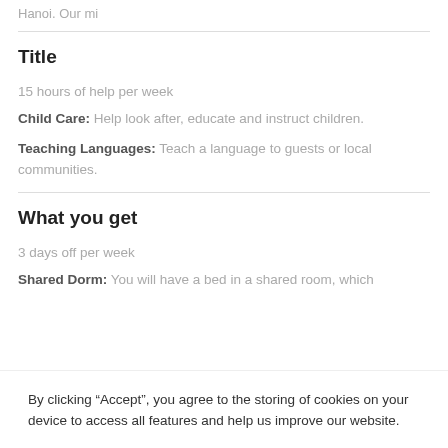Hanoi. Our mi
Title
15 hours of help per week
Child Care: Help look after, educate and instruct children.
Teaching Languages: Teach a language to guests or local communities.
What you get
3 days off per week
Shared Dorm: You will have a bed in a shared room, which
By clicking “Accept”, you agree to the storing of cookies on your device to access all features and help us improve our website.